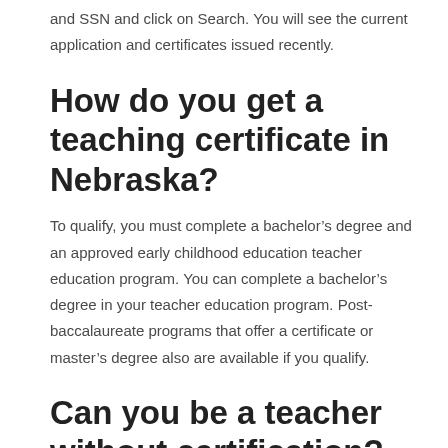and SSN and click on Search. You will see the current application and certificates issued recently.
How do you get a teaching certificate in Nebraska?
To qualify, you must complete a bachelor’s degree and an approved early childhood education teacher education program. You can complete a bachelor’s degree in your teacher education program. Post-baccalaureate programs that offer a certificate or master’s degree also are available if you qualify.
Can you be a teacher without certification?
A certification waiver allows an individual to serve without the necessary certification requirements. The certification may be issued to allow: A person to teach without the necessary